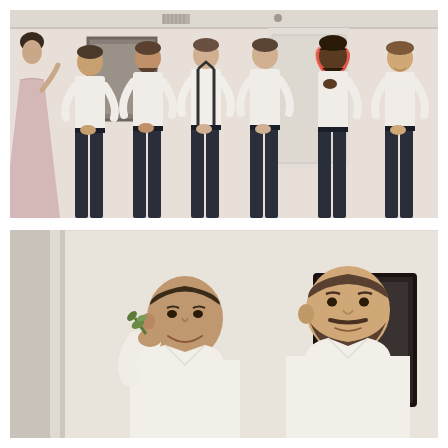[Figure (photo): A woman in a light pink/blush long dress facing away from the camera stands to the left, speaking to or addressing a line of six groomsmen wearing white dress shirts and dark navy trousers. Some groomsmen wear black suspenders. They stand against a cream/white wall with a framed picture and a white door visible. A decorative red heart neon or paper decoration is on the wall.]
[Figure (photo): Two men in white dress shirts in an indoor room with cream walls and a dark-framed picture. The man on the left faces slightly right and holds a small green sprig (boutonniere/greenery) up to his mouth/nose, smiling. The man on the right has a beard and is looking to the left, smiling.]